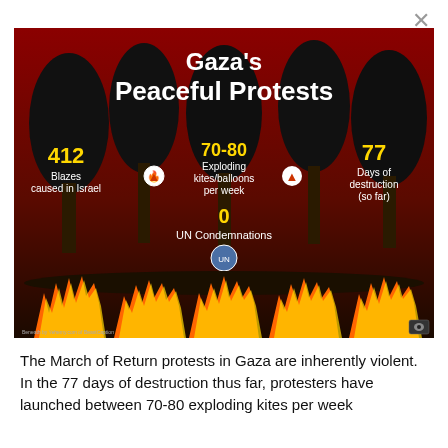[Figure (infographic): Infographic on dark red/black background showing forest fire silhouette. Statistics: 412 Blazes caused in Israel, 70-80 Exploding kites/balloons per week, 77 Days of destruction (so far), 0 UN Condemnations. Flames visible at bottom.]
The March of Return protests in Gaza are inherently violent. In the 77 days of destruction thus far, protesters have launched between 70-80 exploding kites per week